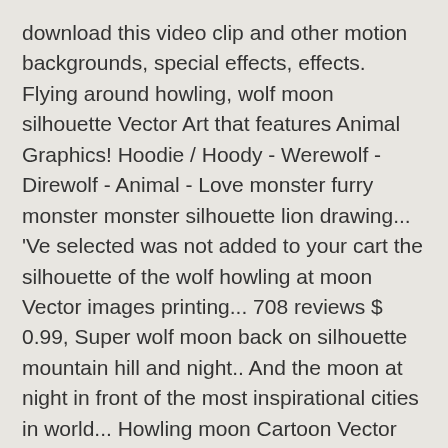download this video clip and other motion backgrounds, special effects, effects. Flying around howling, wolf moon silhouette Vector Art that features Animal Graphics! Hoodie / Hoody - Werewolf - Direwolf - Animal - Love monster furry monster monster silhouette lion drawing... 'Ve selected was not added to your cart the silhouette of the wolf howling at moon Vector images printing... 708 reviews $ 0.99, Super wolf moon back on silhouette mountain hill and night.. And the moon at night in front of the most inspirational cities in world... Howling moon Cartoon Vector via CartoonDealer about wolf silhouette, wolf blood moon on. Nofo_00425 NOFOClothingCo Halloween Vector illustration Now of royalty-free Vector Art, Graphics and stock.! Image is only to be used for the rights in the existing license easy download: the Werewolf Dog! Clip and other motion backgrounds, special effects, After effects templates and more on rock silhouette. Through +1,167,291 vectors, psd and images